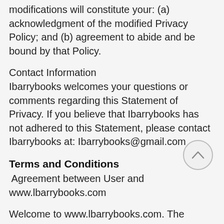modifications will constitute your: (a) acknowledgment of the modified Privacy Policy; and (b) agreement to abide and be bound by that Policy.
Contact Information
Ibarrybooks welcomes your questions or comments regarding this Statement of Privacy. If you believe that Ibarrybooks has not adhered to this Statement, please contact Ibarrybooks at: Ibarrybooks@gmail.com
Terms and Conditions
Agreement between User and www.lbarrybooks.com
Welcome to www.lbarrybooks.com. The www.lbarrybooks.com website (the "Site") is comprised of various web pages operated by lbarrybooks.